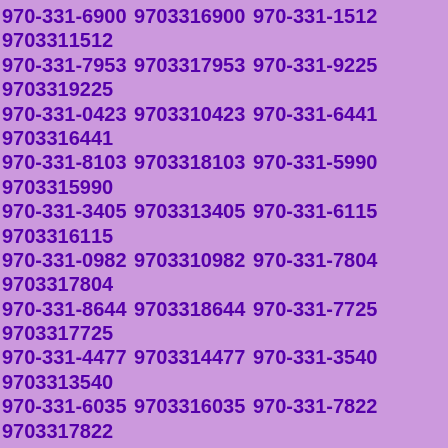970-331-6900 9703316900 970-331-1512 9703311512 970-331-7953 9703317953 970-331-9225 9703319225 970-331-0423 9703310423 970-331-6441 9703316441 970-331-8103 9703318103 970-331-5990 9703315990 970-331-3405 9703313405 970-331-6115 9703316115 970-331-0982 9703310982 970-331-7804 9703317804 970-331-8644 9703318644 970-331-7725 9703317725 970-331-4477 9703314477 970-331-3540 9703313540 970-331-6035 9703316035 970-331-7822 9703317822 970-331-0732 9703310732 970-331-7129 9703317129 970-331-3325 9703313325 970-331-8252 9703318252 970-331-4694 9703314694 970-331-8097 9703318097 970-331-3389 9703313389 970-331-4689 9703314689 970-331-8226 9703318226 970-331-3255 9703313255 970-331-1635 9703311635 970-331-6452 9703316452 970-331-1289 9703311289 970-331-7459 9703317459 970-331-5904 9703315904 970-331-1102 9703311102 970-331-6698 9703316698 970-331-9530 9703319530 970-331-7146 9703317146 970-331-5953 9703315953 970-331-1701 9703311701 970-331-9319 9703319319 970-331-1421 9703311421 970-331-8686 9703318686